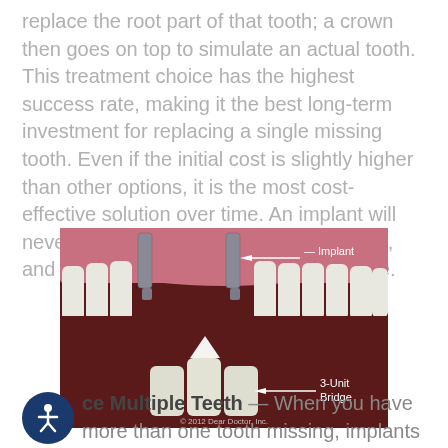replace the root part of that tooth; a crown then goes on top to simulate an actual tooth. This treatment choice has the highest success rate, making it the best long-term investment for replacing a single missing tooth. Even if the initial cost is slightly higher than other options, it is the most cost-effective solution over time. An implant will never decay or need root canal treatment, and feels just like the tooth that was there.
[Figure (illustration): Medical illustration of dental implants showing a cross-section view of teeth. Two metal implant posts are visible in the gum above, with labels pointing to 'Implant'. Below, a 3-Unit Bridge is shown being placed between teeth, with an upward arrow. Labels indicate 'Implant' and '3-Unit Bridge'. Copyright 2012 Dear Doctor, Inc.]
ce Multiple Teeth — When you have more than one tooth missing, implants provide an ideal